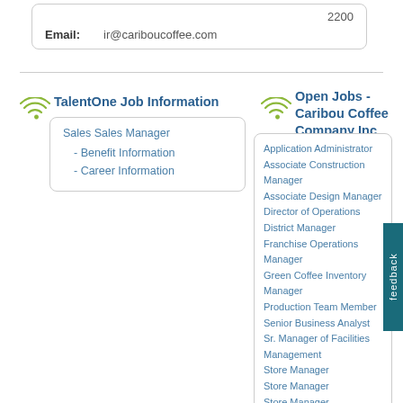2200
Email: ir@cariboucoffee.com
TalentOne Job Information
Sales Sales Manager
- Benefit Information
- Career Information
Open Jobs - Caribou Coffee Company Inc
Application Administrator
Associate Construction Manager
Associate Design Manager
Director of Operations
District Manager
Franchise Operations Manager
Green Coffee Inventory Manager
Production Team Member
Senior Business Analyst
Sr. Manager of Facilities Management
Store Manager
Store Manager
Store Manager
Store Manager